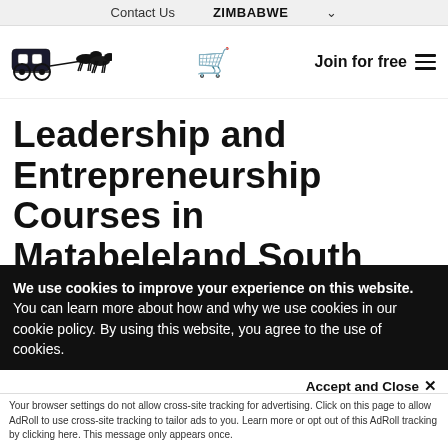Contact Us   ZIMBABWE
[Figure (logo): Horse-drawn carriage logo illustration]
Join for free
Leadership and Entrepreneurship Courses in Matabeleland South 2022
We use cookies to improve your experience on this website. You can learn more about how and why we use cookies in our cookie policy. By using this website, you agree to the use of cookies.
Accept and Close ×
Your browser settings do not allow cross-site tracking for advertising. Click on this page to allow AdRoll to use cross-site tracking to tailor ads to you. Learn more or opt out of this AdRoll tracking by clicking here. This message only appears once.